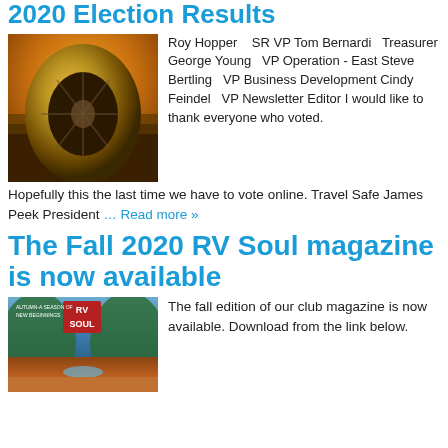2020 Election Results
[Figure (photo): Close-up photo of a golden/amber colored RV wheel and tire against a desert sunset background]
Roy Hopper    SR VP Tom Bernardi   Treasurer George Young   VP Operation - East Steve Bertling   VP  Business Development Cindy Feindel   VP Newsletter Editor I would like to thank everyone who voted.
Hopefully this the last time we have to vote online. Travel Safe James Peek President … Read more »
The Fall 2020 RV Soul magazine is now available
[Figure (photo): Cover of RV Soul magazine - Autumn/A Season of New Beginnings issue, showing mountain valley with river scene in fall colors, with red RV SOUL logo badge]
The fall edition of our club magazine is now available. Download from the link below.